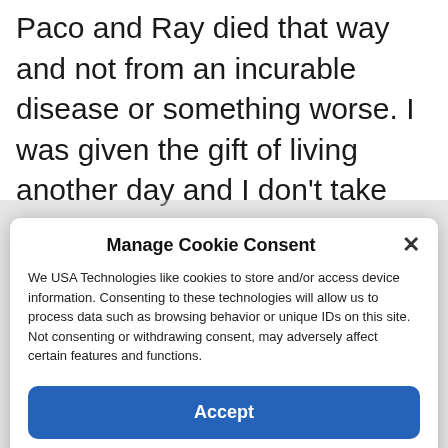Paco and Ray died that way and not from an incurable disease or something worse. I was given the gift of living another day and I don't take that lightly. I want to continue acting and honor Paco and Ray by sharing everything they taught me. I will share my dream with them for the rest of my life," he said.
Manage Cookie Consent
We USA Technologies like cookies to store and/or access device information. Consenting to these technologies will allow us to process data such as browsing behavior or unique IDs on this site. Not consenting or withdrawing consent, may adversely affect certain features and functions.
Accept
Cookie Policy